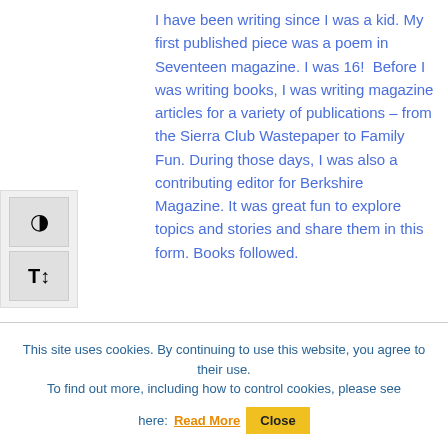I have been writing since I was a kid. My first published piece was a poem in Seventeen magazine. I was 16!  Before I was writing books, I was writing magazine articles for a variety of publications – from the Sierra Club Wastepaper to Family Fun. During those days, I was also a contributing editor for Berkshire Magazine. It was great fun to explore topics and stories and share them in this form. Books followed.
This site uses cookies. By continuing to use this website, you agree to their use.
To find out more, including how to control cookies, please see here: Read More